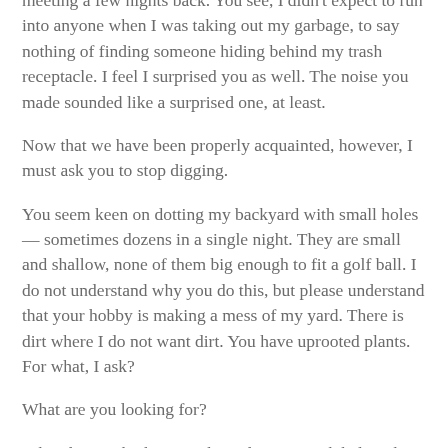meeting a few nights back. You see, I didn't expect to run into anyone when I was taking out my garbage, to say nothing of finding someone hiding behind my trash receptacle. I feel I surprised you as well. The noise you made sounded like a surprised one, at least.
Now that we have been properly acquainted, however, I must ask you to stop digging.
You seem keen on dotting my backyard with small holes — sometimes dozens in a single night. They are small and shallow, none of them big enough to fit a golf ball. I do not understand why you do this, but please understand that your hobby is making a mess of my yard. There is dirt where I do not want dirt. You have uprooted plants. For what, I ask?
What are you looking for?
What do you think you've buried just an inch below the soil surface?
Why do you think these lost articles are hidden beneath my